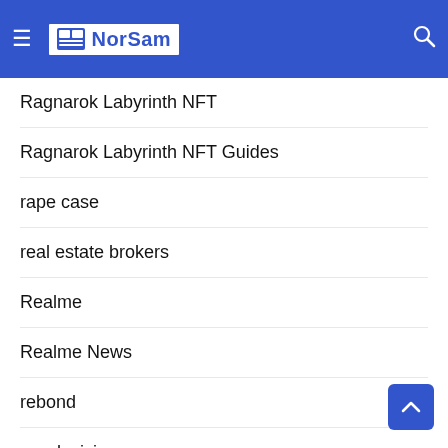NorSam
Ragnarok Labyrinth NFT
Ragnarok Labyrinth NFT Guides
rape case
real estate brokers
Realme
Realme News
rebond
remdesivir
respiratory therapist
Restaurant
Riot Games
robinsons mall